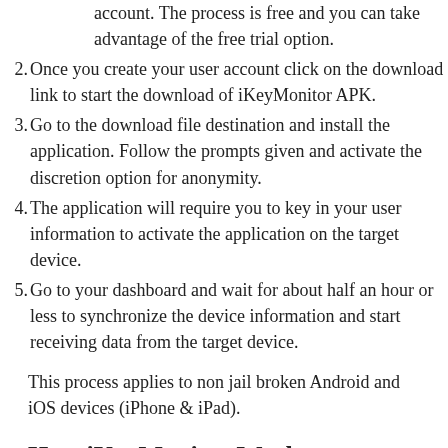account. The process is free and you can take advantage of the free trial option.
2. Once you create your user account click on the download link to start the download of iKeyMonitor APK.
3. Go to the download file destination and install the application. Follow the prompts given and activate the discretion option for anonymity.
4. The application will require you to key in your user information to activate the application on the target device.
5. Go to your dashboard and wait for about half an hour or less to synchronize the device information and start receiving data from the target device.
This process applies to non jail broken Android and iOS devices (iPhone & iPad).
How iKeyMonitor Works: